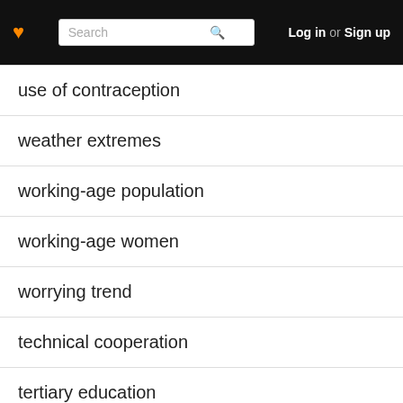Log in or Sign up
use of contraception
weather extremes
working-age population
working-age women
worrying trend
technical cooperation
tertiary education
terrestrial area